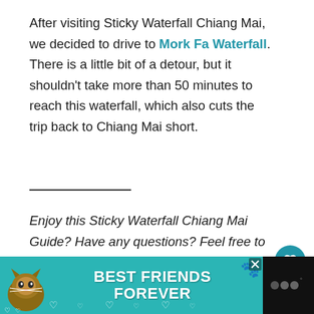After visiting Sticky Waterfall Chiang Mai, we decided to drive to Mork Fa Waterfall. There is a little bit of a detour, but it shouldn't take more than 50 minutes to reach this waterfall, which also cuts the trip back to Chiang Mai short.
Enjoy this Sticky Waterfall Chiang Mai Guide? Have any questions? Feel free to leave a comment or reach me personally by email.
[Figure (infographic): Advertisement banner: Best Friends Forever pet food ad with cat image on teal background]